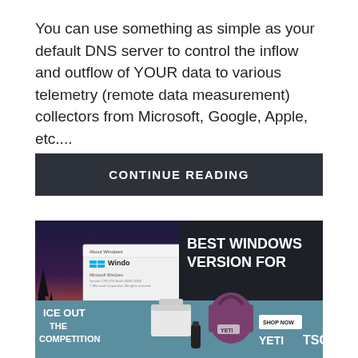You can use something as simple as your default DNS server to control the inflow and outflow of YOUR data to various telemetry (remote data measurement) collectors from Microsoft, Google, Apple, etc....
CONTINUE READING
[Figure (screenshot): Advertisement banner composite: left side shows a Windows 'About Windows' dialog on a dark purple/twilight forest background with text 'BEST WINDOWS VERSION FOR' in white bold on dark right panel; bottom portion shows a YETI cooler advertisement with text 'ICE OUT THE COMPETITION', a YETI cooler bag and accessories, 'SHOP NOW' button, 'YETI' and 'TSC' branding on a teal background.]